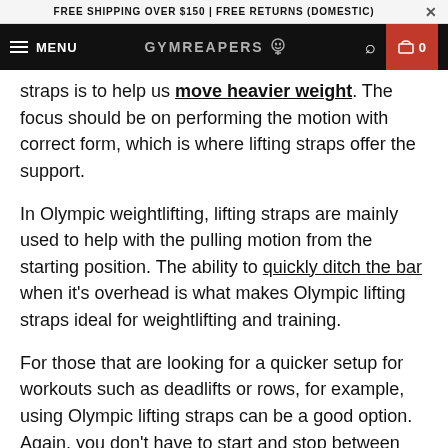FREE SHIPPING OVER $150 | FREE RETURNS (DOMESTIC)
MENU | GYMREAPERS | 0
straps is to help us move heavier weight. The focus should be on performing the motion with correct form, which is where lifting straps offer the support.
In Olympic weightlifting, lifting straps are mainly used to help with the pulling motion from the starting position. The ability to quickly ditch the bar when it's overhead is what makes Olympic lifting straps ideal for weightlifting and training.
For those that are looking for a quicker setup for workouts such as deadlifts or rows, for example, using Olympic lifting straps can be a good option. Again, you don't have to start and stop between reps for adjustment or set up. When it comes to the choices of lifting straps, the Olympic lifting are the easiest to put on.
For optimal...